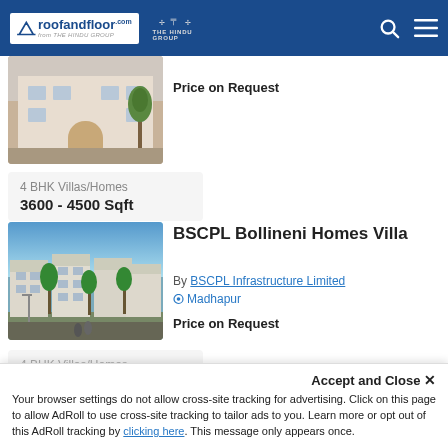roofandfloor.com | THE HINDU GROUP
[Figure (photo): Exterior photo of a residential villa/home with classical architecture]
Price on Request
4 BHK Villas/Homes
3600 - 4500 Sqft
BSCPL Bollineni Homes Villa
By BSCPL Infrastructure Limited
Madhapur
Price on Request
[Figure (photo): Exterior rendering of BSCPL Bollineni Homes Villa with palm trees and street view]
4 BHK Villas/Homes
4498 - 4691 Sqft
Accept and Close ✕
Your browser settings do not allow cross-site tracking for advertising. Click on this page to allow AdRoll to use cross-site tracking to tailor ads to you. Learn more or opt out of this AdRoll tracking by clicking here. This message only appears once.